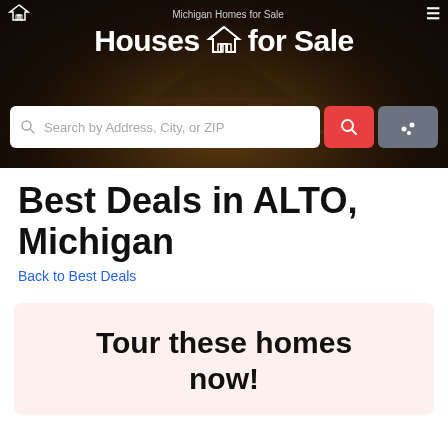Michigan Homes for Sale — Houses for Sale
[Figure (screenshot): Hero banner with dark background showing a house near water at night, with site logo, navigation, and search bar]
Best Deals in ALTO, Michigan
Back to Best Deals
Tour these homes now!